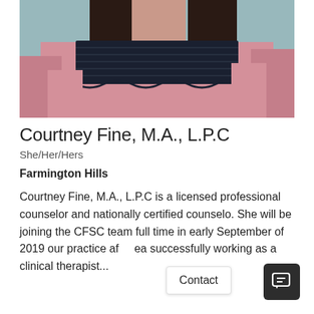[Figure (photo): Photo of Courtney Fine from shoulders up, wearing a pink top with black lace detail, dark hair, against a teal/blue background. Image is cropped at top.]
Courtney Fine, M.A., L.P.C
She/Her/Hers
Farmington Hills
Courtney Fine, M.A., L.P.C is a licensed professional counselor and nationally certified counselo. She will be joining the CFSC team full time in early September of 2019 our practice af  ea successfully working as a clinical therapist...